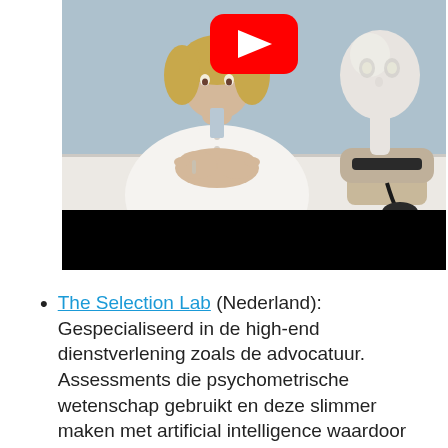[Figure (screenshot): YouTube video thumbnail showing a woman in a white cardigan sitting at a white table with folded hands, next to a white robot head (Furhat or similar social robot) on a device/speaker base. A YouTube play button is visible in the upper center. The lower portion of the video player is a black bar.]
The Selection Lab (Nederland): Gespecialiseerd in de high-end dienstverlening zoals de advocatuur. Assessments die psychometrische wetenschap gebruikt en deze slimmer maken met artificial intelligence waardoor